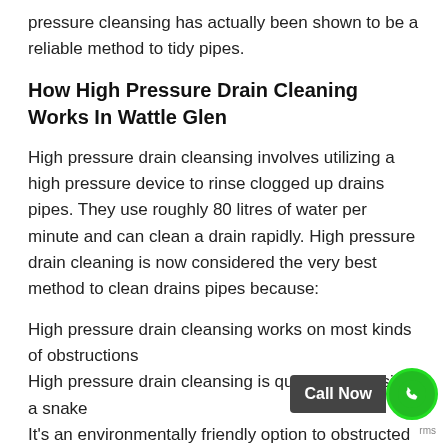pressure cleansing has actually been shown to be a reliable method to tidy pipes.
How High Pressure Drain Cleaning Works In Wattle Glen
High pressure drain cleansing involves utilizing a high pressure device to rinse clogged up drains pipes. They use roughly 80 litres of water per minute and can clean a drain rapidly. High pressure drain cleaning is now considered the very best method to clean drains pipes because:
High pressure drain cleansing works on most kinds of obstructions
High pressure drain cleansing is quicker than using a snake
It's an environmentally friendly option to obstructed drains pipes
High pressure drain cleaning is much better for your pipelines
High pressure drain cleansing eliminates complete blockages, leaving no particles behind to trigger issues later on